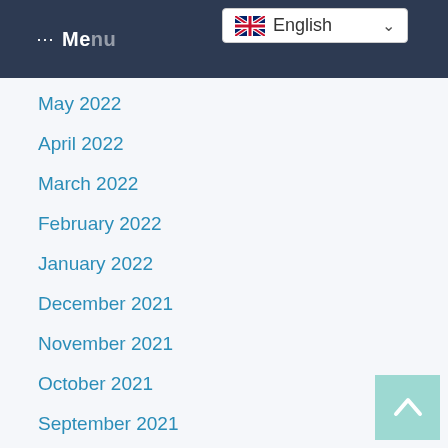Menu
May 2022
April 2022
March 2022
February 2022
January 2022
December 2021
November 2021
October 2021
September 2021
August 2021
July 2021
June 2021
May 2021
April 2021
March 2021